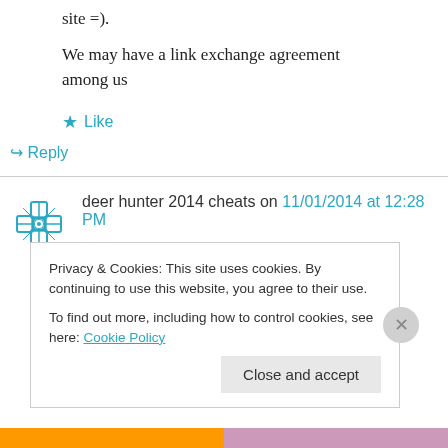site =).
We may have a link exchange agreement among us
★ Like
↪ Reply
deer hunter 2014 cheats on 11/01/2014 at 12:28 PM
you are truly a excellent webmaster. The web site loading pace
Privacy & Cookies: This site uses cookies. By continuing to use this website, you agree to their use. To find out more, including how to control cookies, see here: Cookie Policy
Close and accept